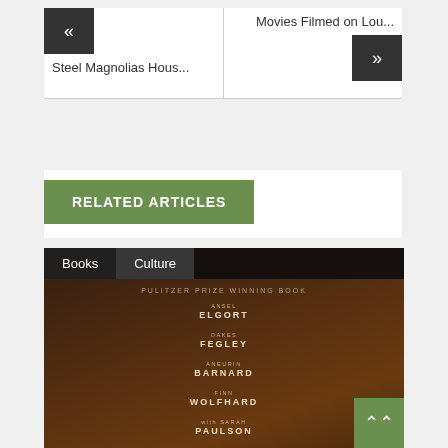[Figure (screenshot): Navigation buttons: left arrow (previous) and right arrow (next) with labels 'Steel Magnolias Hous...' on left and 'Movies Filmed on Lou...' on right]
RELATED ARTICLES
[Figure (screenshot): Movie poster for The Goldfinch with cast list: Ansel Elgort, Oakes Fegley, Aneurin Barnard, Finn Wolfhard, with Sarah Paulson, Luke Wilson, Jeffrey Wright, Nicole Kidman. Tabs: Books, Culture. Text: Pulitzer Prize Winning Book]